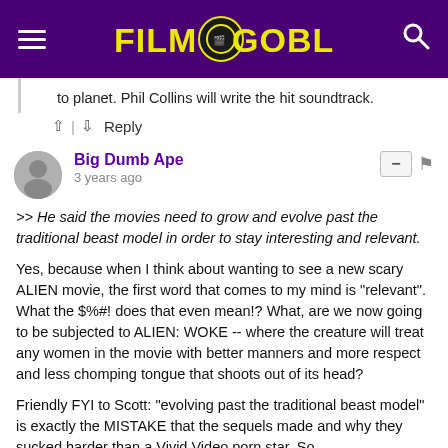FILM GOBLIN
to planet. Phil Collins will write the hit soundtrack.
↑ | ↓  Reply
Big Dumb Ape
3 years ago
>> He said the movies need to grow and evolve past the traditional beast model in order to stay interesting and relevant.

Yes, because when I think about wanting to see a new scary ALIEN movie, the first word that comes to my mind is "relevant". What the $%#! does that even mean!? What, are we now going to be subjected to ALIEN: WOKE -- where the creature will treat any women in the movie with better manners and more respect and less chomping tongue that shoots out of its head?

Friendly FYI to Scott: "evolving past the traditional beast model" is exactly the MISTAKE that the sequels made and why they sucked harder than a Vivid Video porn star. So